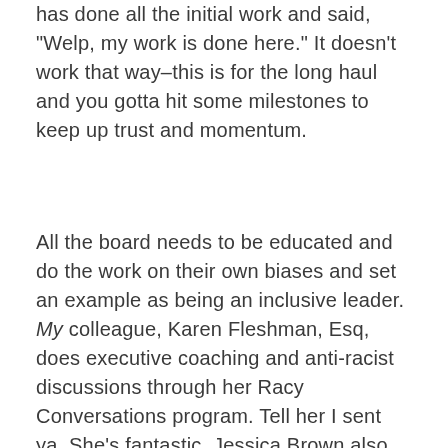has done all the initial work and said, "Welp, my work is done here." It doesn't work that way–this is for the long haul and you gotta hit some milestones to keep up trust and momentum.
All the board needs to be educated and do the work on their own biases and set an example as being an inclusive leader. My colleague, Karen Fleshman, Esq, does executive coaching and anti-racist discussions through her Racy Conversations program. Tell her I sent ya. She's fantastic. Jessica Brown also has a great book on how to be an inclusive